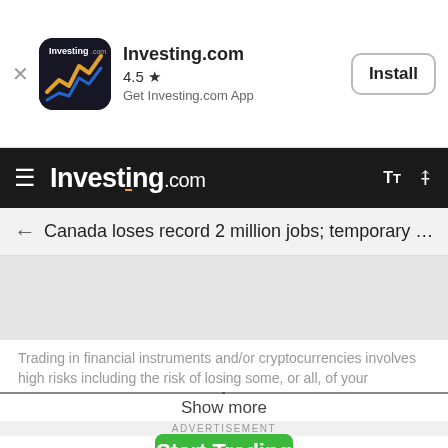[Figure (screenshot): Investing.com app install banner with app icon, 4.5 star rating, and Install button]
Investing.com
Canada loses record 2 million jobs; temporary l...
[Figure (other): Grey content area placeholder]
Trading in financial instruments and/or cryptocurrencies involves high risks including the risk of losing some, or all, of your investment amount, and may not be suitable for all investors. Prices of cryptocurrencies are extremely
Show more
ADVERTISEMENT
[Figure (other): Start Trading advertisement button (green)]